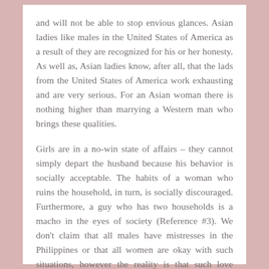and will not be able to stop envious glances. Asian ladies like males in the United States of America as a result of they are recognized for his or her honesty. As well as, Asian ladies know, after all, that the lads from the United States of America work exhausting and are very serious. For an Asian woman there is nothing higher than marrying a Western man who brings these qualities.
Girls are in a no-win state of affairs – they cannot simply depart the husband because his behavior is socially acceptable. The habits of a woman who ruins the household, in turn, is socially discouraged. Furthermore, a guy who has two households is a macho in the eyes of society (Reference #3). We don't claim that all males have mistresses in the Philippines or that all women are okay with such situations, however the reality is that such love triangles are a quite frequent factor on these